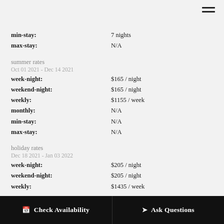min-stay: 7 nights
max-stay: N/A
summer rates
Oct 01 2021 - Dec 14 2021
week-night: $165 / night
weekend-night: $165 / night
weekly: $1155 / week
monthly: N/A
min-stay: N/A
max-stay: N/A
holiday rates
Dec 18 2021 - Jan 03 2022
week-night: $205 / night
weekend-night: $205 / night
weekly: $1435 / week
Check Availability | Ask Questions